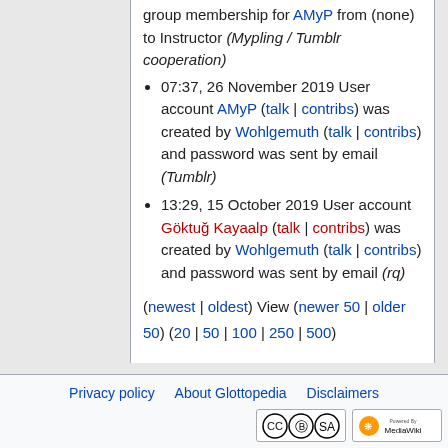07:37, 26 November 2019 User account AMyP (talk | contribs) was created by Wohlgemuth (talk | contribs) and password was sent by email (Tumblr)
13:29, 15 October 2019 User account Göktuğ Kayaalp (talk | contribs) was created by Wohlgemuth (talk | contribs) and password was sent by email (rq)
(newest | oldest) View (newer 50 | older 50) (20 | 50 | 100 | 250 | 500)
Privacy policy   About Glottopedia   Disclaimers